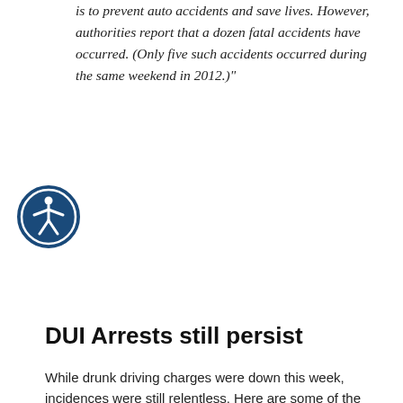is to prevent auto accidents and save lives. However, authorities report that a dozen fatal accidents have occurred. (Only five such accidents occurred during the same weekend in 2012.)"
[Figure (illustration): Accessibility icon: a dark blue circle with a white human figure with arms outstretched, representing accessibility]
DUI Arrests still persist
While drunk driving charges were down this week, incidences were still relentless. Here are some of the